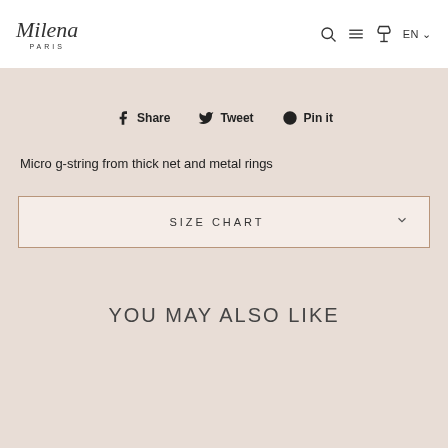Milena Paris
Share  Tweet  Pin it
Micro g-string from thick net and metal rings
SIZE CHART
YOU MAY ALSO LIKE